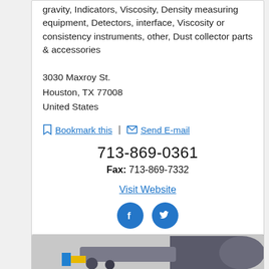gravity, Indicators, Viscosity, Density measuring equipment, Detectors, interface, Viscosity or consistency instruments, other, Dust collector parts & accessories
3030 Maxroy St.
Houston, TX 77008
United States
Bookmark this | Send E-mail
713-869-0361
Fax: 713-869-7332
Visit Website
[Figure (illustration): Facebook and Twitter social media icons (blue circles with white logos)]
[Figure (photo): Industrial equipment photo partially visible at bottom of page]